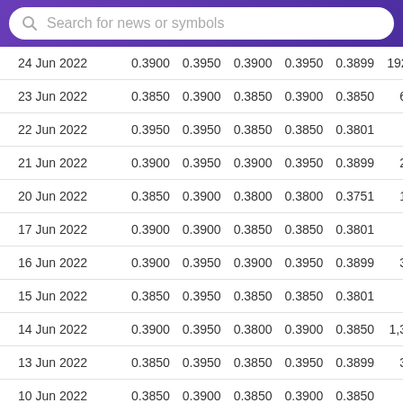| Date | Open | High | Low | Close | Adj Close | Volume |
| --- | --- | --- | --- | --- | --- | --- |
| 24 Jun 2022 | 0.3900 | 0.3950 | 0.3900 | 0.3950 | 0.3899 | 192… |
| 23 Jun 2022 | 0.3850 | 0.3900 | 0.3850 | 0.3900 | 0.3850 | 685… |
| 22 Jun 2022 | 0.3950 | 0.3950 | 0.3850 | 0.3850 | 0.3801 | 14… |
| 21 Jun 2022 | 0.3900 | 0.3950 | 0.3900 | 0.3950 | 0.3899 | 275… |
| 20 Jun 2022 | 0.3850 | 0.3900 | 0.3800 | 0.3800 | 0.3751 | 117… |
| 17 Jun 2022 | 0.3900 | 0.3900 | 0.3850 | 0.3850 | 0.3801 | 48… |
| 16 Jun 2022 | 0.3900 | 0.3950 | 0.3900 | 0.3950 | 0.3899 | 371… |
| 15 Jun 2022 | 0.3850 | 0.3950 | 0.3850 | 0.3850 | 0.3801 | 65… |
| 14 Jun 2022 | 0.3900 | 0.3950 | 0.3800 | 0.3900 | 0.3850 | 1,326… |
| 13 Jun 2022 | 0.3850 | 0.3950 | 0.3850 | 0.3950 | 0.3899 | 353… |
| 10 Jun 2022 | 0.3850 | 0.3900 | 0.3850 | 0.3900 | 0.3850 | 36… |